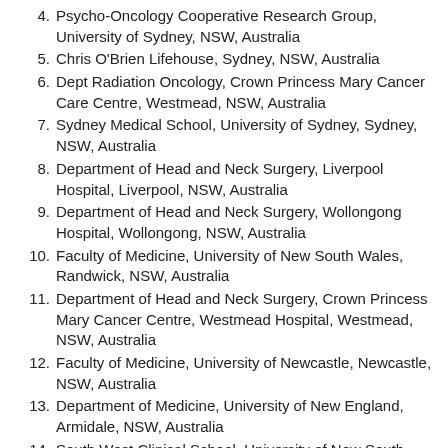4. Psycho-Oncology Cooperative Research Group, University of Sydney, NSW, Australia
5. Chris O'Brien Lifehouse, Sydney, NSW, Australia
6. Dept Radiation Oncology, Crown Princess Mary Cancer Care Centre, Westmead, NSW, Australia
7. Sydney Medical School, University of Sydney, Sydney, NSW, Australia
8. Department of Head and Neck Surgery, Liverpool Hospital, Liverpool, NSW, Australia
9. Department of Head and Neck Surgery, Wollongong Hospital, Wollongong, NSW, Australia
10. Faculty of Medicine, University of New South Wales, Randwick, NSW, Australia
11. Department of Head and Neck Surgery, Crown Princess Mary Cancer Centre, Westmead Hospital, Westmead, NSW, Australia
12. Faculty of Medicine, University of Newcastle, Newcastle, NSW, Australia
13. Department of Medicine, University of New England, Armidale, NSW, Australia
14. South West Clinical School, University of New South Wales, Liverpool, NSW, Australia